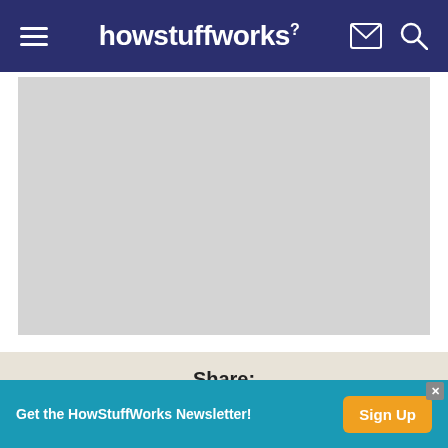howstuffworks
[Figure (screenshot): Gray placeholder/advertisement image area]
Share:
[Figure (infographic): Social share icons: Twitter, Facebook, LinkedIn, Email]
Citation
[Figure (infographic): Banner ad: Get the HowStuffWorks Newsletter! Sign Up button]